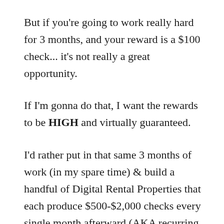But if you're going to work really hard for 3 months, and your reward is a $100 check... it's not really a great opportunity.
If I'm gonna do that, I want the rewards to be HIGH and virtually guaranteed.
I'd rather put in that same 3 months of work (in my spare time) & build a handful of Digital Rental Properties that each produce $500-$2,000 checks every single month afterward (AKA recurring income).
And the cool part is that you can do it in a lot less time